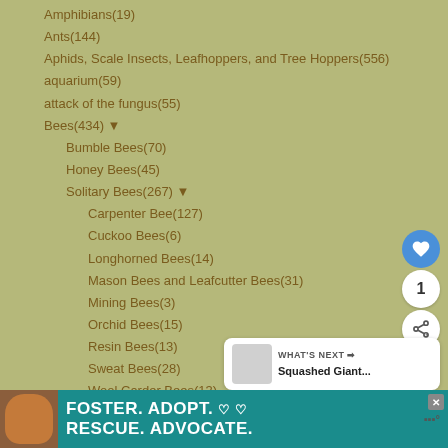Amphibians(19)
Ants(144)
Aphids, Scale Insects, Leafhoppers, and Tree Hoppers(556)
aquarium(59)
attack of the fungus(55)
Bees(434) ▼
Bumble Bees(70)
Honey Bees(45)
Solitary Bees(267) ▼
Carpenter Bee(127)
Cuckoo Bees(6)
Longhorned Bees(14)
Mason Bees and Leafcutter Bees(31)
Mining Bees(3)
Orchid Bees(15)
Resin Bees(13)
Sweat Bees(28)
Wool Carder Bees(13)
Beetles(5162) ▼
[Figure (screenshot): UI overlay with heart/like button (blue circle with heart icon), count '1' button, and share button]
[Figure (infographic): What's Next panel showing thumbnail and text 'Squashed Giant...']
[Figure (infographic): Advertisement banner: FOSTER. ADOPT. RESCUE. ADVOCATE. with dog image]